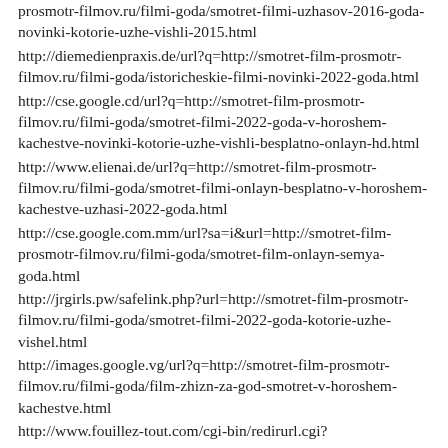prosmotr-filmov.ru/filmi-goda/smotret-filmi-uzhasov-2016-goda-novinki-kotorie-uzhe-vishli-2015.html
http://diemedienpraxis.de/url?q=http://smotret-film-prosmotr-filmov.ru/filmi-goda/istoricheskie-filmi-novinki-2022-goda.html
http://cse.google.cd/url?q=http://smotret-film-prosmotr-filmov.ru/filmi-goda/smotret-filmi-2022-goda-v-horoshem-kachestve-novinki-kotorie-uzhe-vishli-besplatno-onlayn-hd.html
http://www.elienai.de/url?q=http://smotret-film-prosmotr-filmov.ru/filmi-goda/smotret-filmi-onlayn-besplatno-v-horoshem-kachestve-uzhasi-2022-goda.html
http://cse.google.com.mm/url?sa=i&url=http://smotret-film-prosmotr-filmov.ru/filmi-goda/smotret-film-onlayn-semya-goda.html
http://jrgirls.pw/safelink.php?url=http://smotret-film-prosmotr-filmov.ru/filmi-goda/smotret-filmi-2022-goda-kotorie-uzhe-vishel.html
http://images.google.vg/url?q=http://smotret-film-prosmotr-filmov.ru/filmi-goda/film-zhizn-za-god-smotret-v-horoshem-kachestve.html
http://www.fouillez-tout.com/cgi-bin/redirurl.cgi?
http://smotret-film-prosmotr-filmov.ru/filmi-goda/...